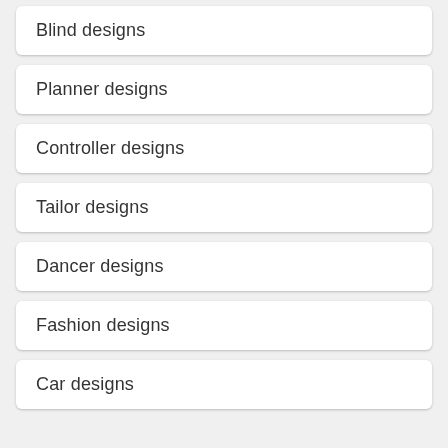Blind designs
Planner designs
Controller designs
Tailor designs
Dancer designs
Fashion designs
Car designs